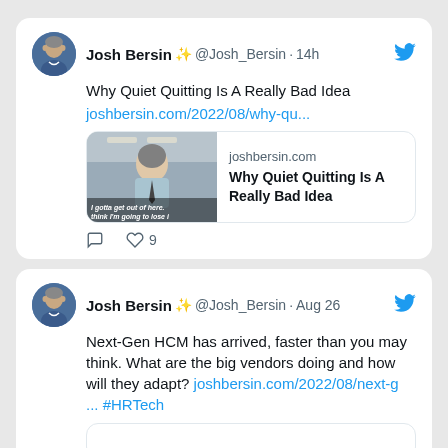[Figure (screenshot): Tweet 1 card: Josh Bersin ✨ @Josh_Bersin · 14h — Why Quiet Quitting Is A Really Bad Idea — joshbersin.com/2022/08/why-qu... — link preview card with meme image and article title — heart icon with 9 likes]
[Figure (screenshot): Tweet 2 card: Josh Bersin ✨ @Josh_Bersin · Aug 26 — Next-Gen HCM has arrived, faster than you may think. What are the big vendors doing and how will they adapt? joshbersin.com/2022/08/next-g ... #HRTech]